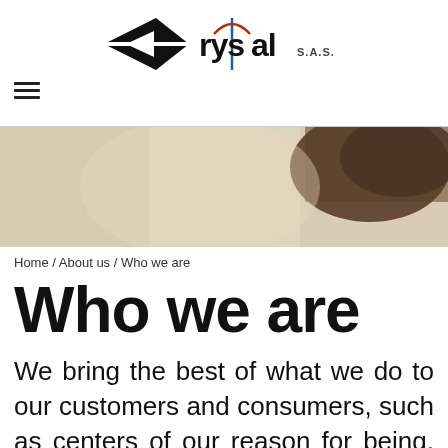[Figure (logo): Crystal S.A.S. logo with black diamond/arrow shape and needle graphic in red and blue]
[Figure (photo): Cropped photo of a woman wearing a white knit/lace garment, showing partial face and hair]
Home / About us / Who we are
Who we are
We bring the best of what we do to our customers and consumers, such as centers of our reason for being, based on a strategy of omnichannel and